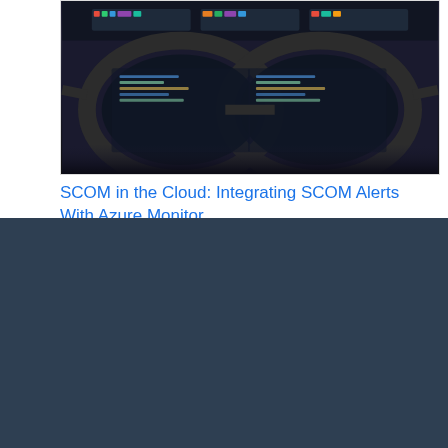[Figure (photo): Close-up photo of glasses/monitors showing computer screens in a dark setting]
SCOM in the Cloud: Integrating SCOM Alerts With Azure Monitor
[Figure (logo): Microsoft Gold Partner logo with four-square Windows logo mark in light grey on dark blue background]
VIAcode,
8201 164th Ave NE, Suite 240
Redmond, WA 98052 USA

7 South Main St, Suite 206